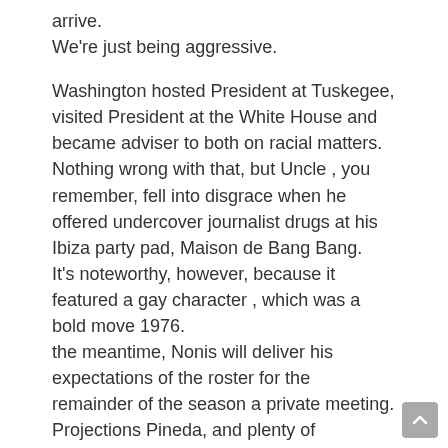arrive.
We're just being aggressive.
Washington hosted President at Tuskegee, visited President at the White House and became adviser to both on racial matters. Nothing wrong with that, but Uncle , you remember, fell into disgrace when he offered undercover journalist drugs at his Ibiza party pad, Maison de Bang Bang.
It's noteworthy, however, because it featured a gay character , which was a bold move 1976.
the meantime, Nonis will deliver his expectations of the roster for the remainder of the season a private meeting.
Projections Pineda, and plenty of prognosticators tell you that you need to buy, buy, buy.
Like most self-educated men, Archer was locked NFL Jerseys 2017 into his own certitudes.
After Mickey Mantle passed away 1995, Topps wanted http://www.newenglandpatriotsauthorizedstore.com/malcom-